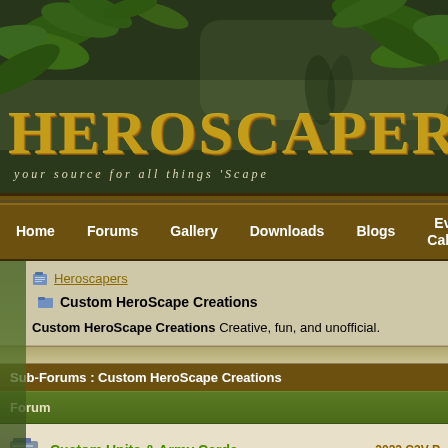[Figure (screenshot): Heroscapers.com website banner with jungle/fantasy theme background showing leaves and warrior figures. Large styled text reads HEROSCAPERS.COM with subtitle YOUR SOURCE FOR ALL THINGS 'SCAPE]
Home  Forums  Gallery  Downloads  Blogs  Events Calendar
Heroscapers > Custom HeroScape Creations
Custom HeroScape Creations  Creative, fun, and unofficial.
Sub-Forums : Custom HeroScape Creations
| Forum |  |
| --- | --- |
| Custom Units & Army Cards | 2022 C3V P |